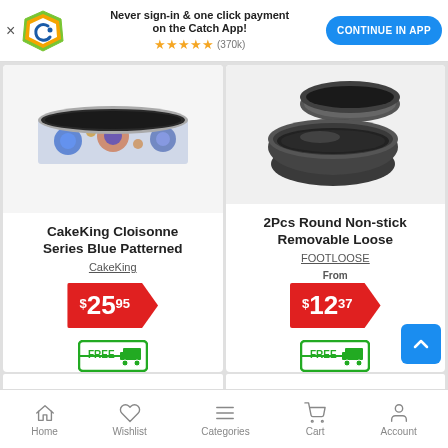[Figure (screenshot): App banner with Catch logo, 'Never sign-in & one click payment on the Catch App!' text, star rating (370k reviews), and CONTINUE IN APP button]
[Figure (photo): CakeKing Cloisonne Series Blue Patterned springform cake tin with blue floral pattern]
CakeKing Cloisonne Series Blue Patterned
CakeKing
$25.95
[Figure (illustration): FREE delivery truck icon]
[Figure (photo): 2Pcs Round Non-stick Removable Loose bottom tart/quiche pans, dark grey color]
2Pcs Round Non-stick Removable Loose
FOOTLOOSE
From
$12.37
[Figure (illustration): FREE delivery truck icon]
Home  Wishlist  Categories  Cart  Account